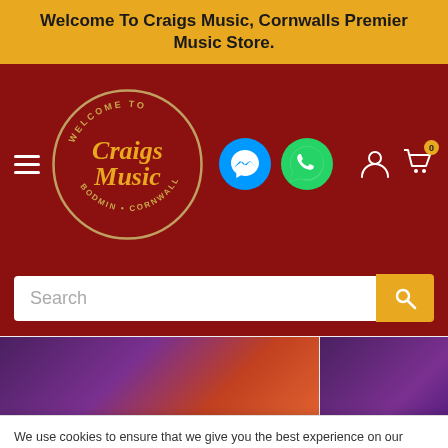Welcome To Craigs Music, Cornwalls Premier Music Store.
[Figure (logo): Craigs Music circular logo with 'Welcome To Bodmin Cornwall' text around a stylized 'Craigs Music' script wordmark on dark red background]
[Figure (screenshot): Facebook Messenger icon - blue circle with white lightning bolt chat icon]
[Figure (screenshot): WhatsApp icon - green circle with white phone/chat icon]
[Figure (screenshot): Product images showing purple/orange coloured guitar string packaging partially visible]
We use cookies to ensure that we give you the best experience on our website. If you continue to use this site we will assume that you are happy to continue.
Accept
Extra Light
Gauge12-53